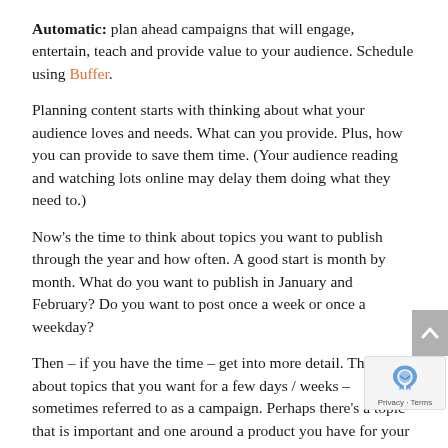Automatic: plan ahead campaigns that will engage, entertain, teach and provide value to your audience. Schedule using Buffer.
Planning content starts with thinking about what your audience loves and needs. What can you provide. Plus, how you can provide to save them time. (Your audience reading and watching lots online may delay them doing what they need to.)
Now's the time to think about topics you want to publish through the year and how often. A good start is month by month. What do you want to publish in January and February? Do you want to post once a week or once a weekday?
Then – if you have the time – get into more detail. Think about topics that you want for a few days / weeks – sometimes referred to as a campaign. Perhaps there's a topic that is important and one around a product you have for your clients. That doesn't have to last